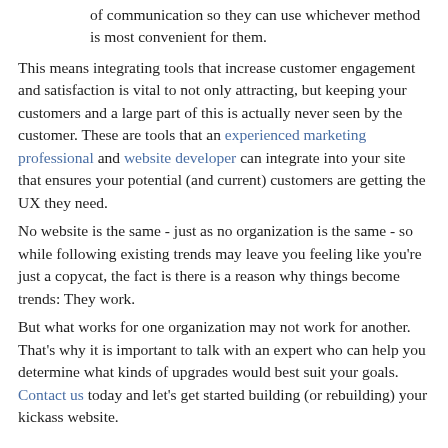of communication so they can use whichever method is most convenient for them.
This means integrating tools that increase customer engagement and satisfaction is vital to not only attracting, but keeping your customers and a large part of this is actually never seen by the customer. These are tools that an experienced marketing professional and website developer can integrate into your site that ensures your potential (and current) customers are getting the UX they need.
No website is the same - just as no organization is the same - so while following existing trends may leave you feeling like you're just a copycat, the fact is there is a reason why things become trends: They work.
But what works for one organization may not work for another. That's why it is important to talk with an expert who can help you determine what kinds of upgrades would best suit your goals. Contact us today and let's get started building (or rebuilding) your kickass website.